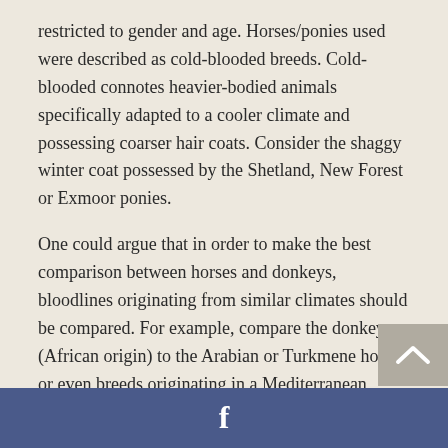restricted to gender and age. Horses/ponies used were described as cold-blooded breeds. Cold-blooded connotes heavier-bodied animals specifically adapted to a cooler climate and possessing coarser hair coats. Consider the shaggy winter coat possessed by the Shetland, New Forest or Exmoor ponies.
One could argue that in order to make the best comparison between horses and donkeys, bloodlines originating from similar climates should be compared. For example, compare the donkey (African origin) to the Arabian or Turkmene horse or even breeds originating in a Mediterranean climate.
Some additional questions which the researchers might have done well to consider:
f